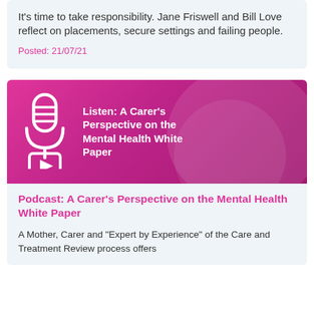It's time to take responsibility. Jane Friswell and Bill Love reflect on placements, secure settings and failing people.
Posted: 21/07/21
[Figure (illustration): Pink/magenta podcast banner image with white microphone icon and play button, text reads: Listen: A Carer's Perspective on the Mental Health White Paper]
Podcast: A Carer's Perspective on the Mental Health White Paper
A Mother, Carer and "Expert by Experience" of the Care and Treatment Review process offers